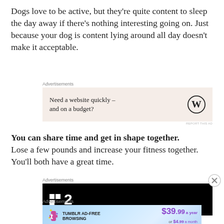Dogs love to be active, but they're quite content to sleep the day away if there's nothing interesting going on. Just because your dog is content lying around all day doesn't make it acceptable.
[Figure (other): Advertisement banner for WordPress: 'Need a website quickly – and on a budget?' with WordPress logo on a beige background]
You can share time and get in shape together. Lose a few pounds and increase your fitness together. You'll both have a great time.
[Figure (other): Advertisement banner showing a black background with a white square and the number 2 (Freeview Play channel branding)]
[Figure (other): Advertisement banner for Tumblr Ad-Free Browsing: $39.99 a year or $4.99 a month, with Tumblr logo and sparkle stars on a blue gradient background]